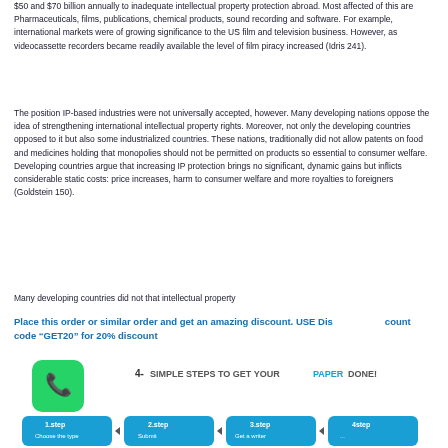$50 and $70 billion annually to inadequate intellectual property protection abroad. Most affected of this are Pharmaceuticals, films, publications, chemical products, sound recording and software. For example, international markets were of growing significance to the US film and television business. However, as videocassette recorders became readily available the level of film piracy increased (Idris 241).
The position IP-based industries were not universally accepted, however. Many developing nations oppose the idea of strengthening international intellectual property rights. Moreover, not only the developing countries opposed to it but also some industrialized countries. These nations, traditionally did not allow patents on food and medicines holding that monopolies should not be permitted on products so essential to consumer welfare. Developing countries argue that increasing IP protection brings no significant, dynamic gains but inflicts considerable static costs: price increases, harm to consumer welfare and more royalties to foreigners (Goldstein 150).
Many developing countries did not that intellectual property
Place this order or similar order and get an amazing discount. USE Discount code “GET20” for 20% discount
[Figure (infographic): Infographic showing 4 simple steps to get your paper done, with WhatsApp icon and step icons for each of the 4 steps.]